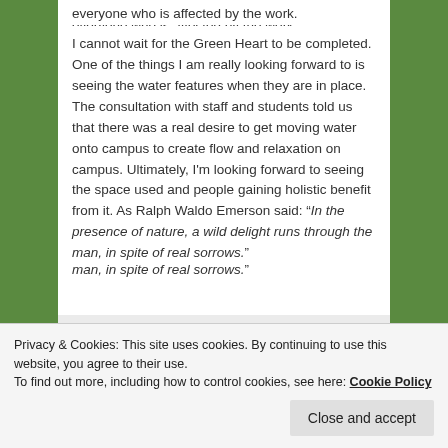everyone who is affected by the work.
I cannot wait for the Green Heart to be completed. One of the things I am really looking forward to is seeing the water features when they are in place. The consultation with staff and students told us that there was a real desire to get moving water onto campus to create flow and relaxation on campus. Ultimately, I'm looking forward to seeing the space used and people gaining holistic benefit from it. As Ralph Waldo Emerson said: "In the presence of nature, a wild delight runs through the man, in spite of real sorrows."
[Figure (photo): Row of three circular portrait photos of people (two women, one man) and a blue circle with a plus sign, on a light grey background.]
Privacy & Cookies: This site uses cookies. By continuing to use this website, you agree to their use.
To find out more, including how to control cookies, see here: Cookie Policy